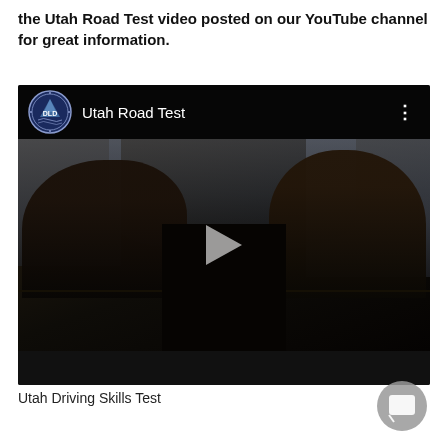the Utah Road Test video posted on our YouTube channel for great information.
[Figure (screenshot): Embedded YouTube video thumbnail showing 'Utah Road Test' with DLD badge logo, title text, three-dot menu icon, and a dark car interior scene with two people and a play button overlay.]
Utah Driving Skills Test